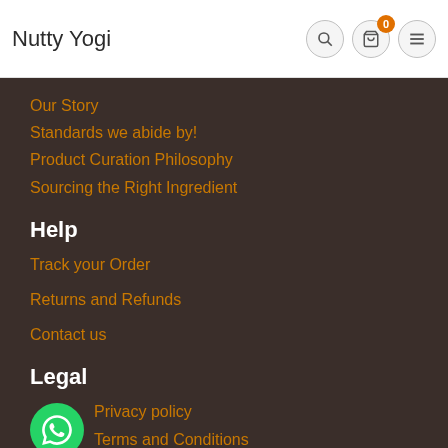Nutty Yogi
Our Story
Standards we abide by!
Product Curation Philosophy
Sourcing the Right Ingredient
Help
Track your Order
Returns and Refunds
Contact us
Legal
Privacy policy
Terms and Conditions